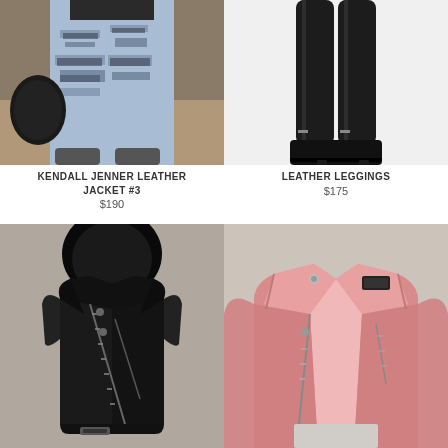[Figure (photo): Person wearing ripped distressed light blue jeans carrying a black leather bag, street style photo]
KENDALL JENNER LEATHER JACKET #3
$190
[Figure (photo): Leather leggings worn with black ankle boots, product photo on white background]
LEATHER LEGGINGS
$175
[Figure (photo): Black leather hooded vest/sleeveless jacket with diagonal zipper, product photo on grey background]
[Figure (photo): Pink leather biker jacket open front showing pink lining, product photo on grey background]